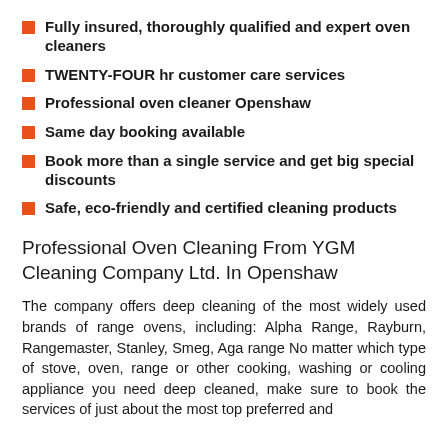Fully insured, thoroughly qualified and expert oven cleaners
TWENTY-FOUR hr customer care services
Professional oven cleaner Openshaw
Same day booking available
Book more than a single service and get big special discounts
Safe, eco-friendly and certified cleaning products
Professional Oven Cleaning From YGM Cleaning Company Ltd. In Openshaw
The company offers deep cleaning of the most widely used brands of range ovens, including: Alpha Range, Rayburn, Rangemaster, Stanley, Smeg, Aga range No matter which type of stove, oven, range or other cooking, washing or cooling appliance you need deep cleaned, make sure to book the services of just about the most top preferred and